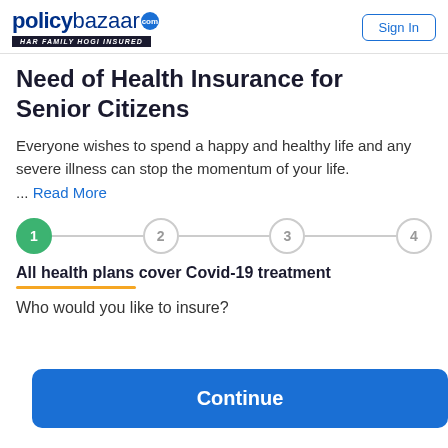policybazaar.com HAR FAMILY HOGI INSURED | Sign In
Need of Health Insurance for Senior Citizens
Everyone wishes to spend a happy and healthy life and any severe illness can stop the momentum of your life. ... Read More
[Figure (infographic): Step progress indicator with 4 numbered circles connected by lines. Step 1 is active (green filled), steps 2, 3, 4 are inactive (grey outline).]
All health plans cover Covid-19 treatment
Who would you like to insure?
Continue